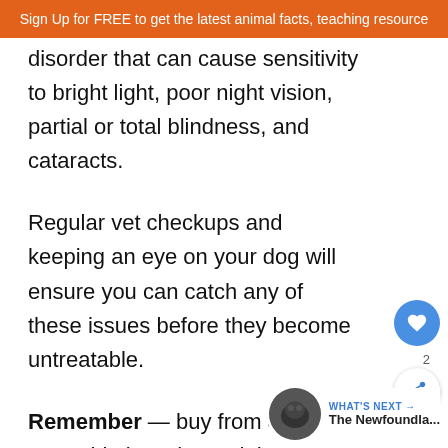Sign Up for FREE to get the latest animal facts, teaching resource
disorder that can cause sensitivity to bright light, poor night vision, partial or total blindness, and cataracts.
Regular vet checkups and keeping an eye on your dog will ensure you can catch any of these issues before they become untreatable.
Remember — buy from a reputable breeder and the chances your dog will suffer any health conditions will be greatly reduced.